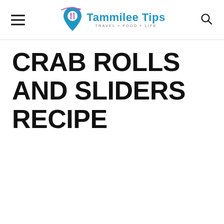Tammilee Tips — TRAVEL + FOOD + LIFE
CRAB ROLLS AND SLIDERS RECIPE